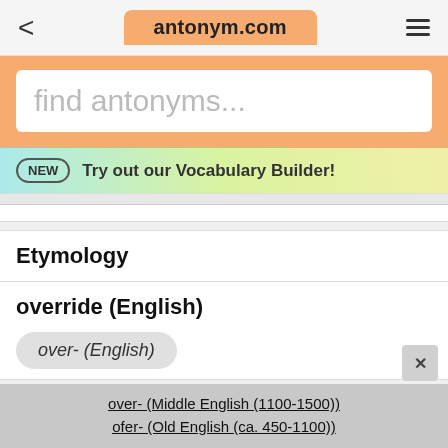antonym.com
find antonyms...
NEW  Try out our Vocabulary Builder!
Etymology
override (English)
over- (English)
over- (Middle English (1100-1500))
ofer- (Old English (ca. 450-1100))